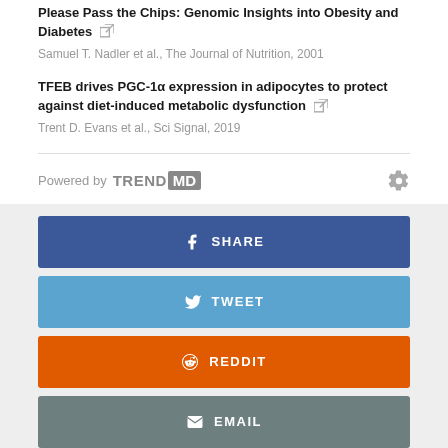Please Pass the Chips: Genomic Insights into Obesity and Diabetes — Samuel T. Nadler et al., The Journal of Nutrition, 2001
TFEB drives PGC-1α expression in adipocytes to protect against diet-induced metabolic dysfunction — Trent D. Evans et al., Sci Signal, 2019
Powered by TREND MD
[Figure (infographic): Social sharing buttons: SHARE (Facebook, blue), TWEET (Twitter, light blue), REDDIT (orange), EMAIL (grey), and a partial blue button at bottom.]